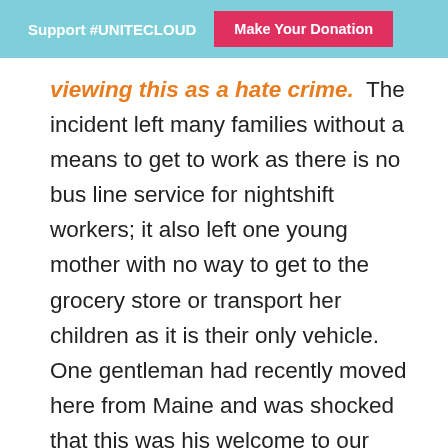Support #UNITECLOUD   Make Your Donation
viewing this as a hate crime.  The incident left many families without a means to get to work as there is no bus line service for nightshift workers; it also left one young mother with no way to get to the grocery store or transport her children as it is their only vehicle. One gentleman had recently moved here from Maine and was shocked that this was his welcome to our community.  Though there were many sad stories, perhaps one